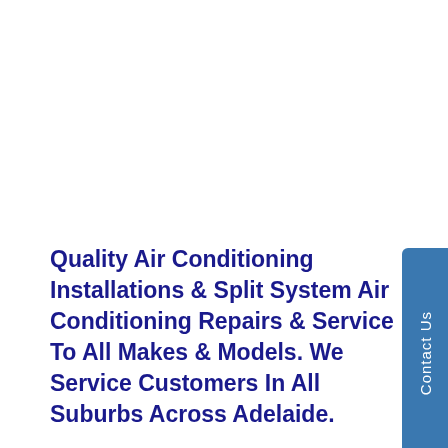[Figure (other): Contact Us tab/button on the right side of the page, blue rounded rectangle with white vertical text reading 'Contact Us']
Quality Air Conditioning Installations & Split System Air Conditioning Repairs & Service To All Makes & Models. We Service Customers In All Suburbs Across Adelaide.